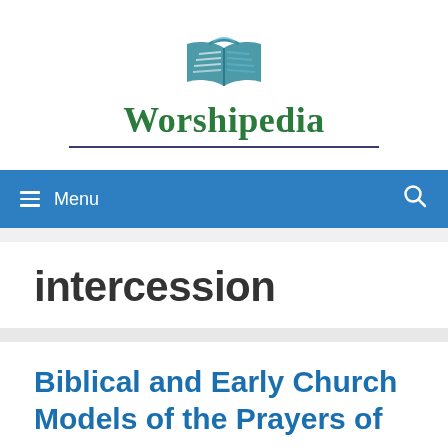Worshipedia
Menu
intercession
Biblical and Early Church Models of the Prayers of